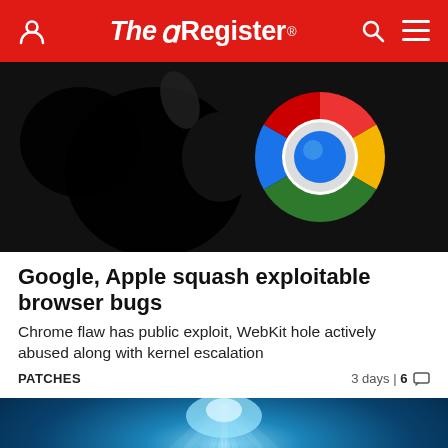The Register
[Figure (photo): Cropped image showing Apple logo (black, blurred) on left and Google Chrome logo (circular green/blue/yellow/red) on right, against dark background.]
Google, Apple squash exploitable browser bugs
Chrome flaw has public exploit, WebKit hole actively abused along with kernel escalation
PATCHES   3 days | 6 💬
[Figure (photo): Underwater scene with bright blue rays of light beaming downward through dark deep water.]